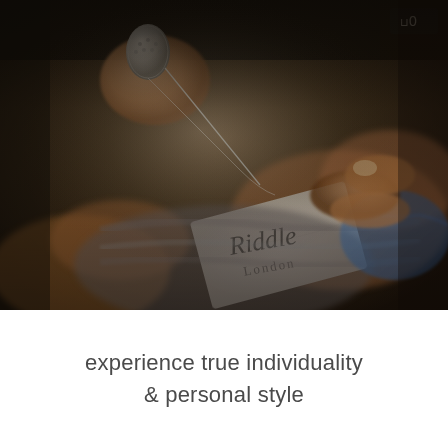[Figure (photo): Close-up photograph of hands sewing a fabric label reading 'Riddle London' with a needle and thread, thimble visible on one finger. Warm, moody, dark background with soft focus.]
experience true individuality & personal style